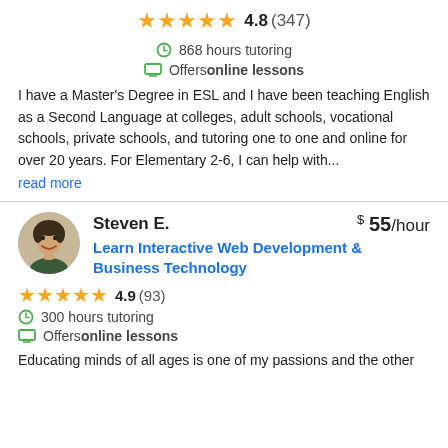[Figure (other): 5 gold stars rating display with 4.8 (347)]
868 hours tutoring
Offers online lessons
I have a Master's Degree in ESL and I have been teaching English as a Second Language at colleges, adult schools, vocational schools, private schools, and tutoring one to one and online for over 20 years. For Elementary 2-6, I can help with...
read more
[Figure (photo): Photo of Steven E., a man smiling]
Steven E.   $ 55/hour
Learn Interactive Web Development & Business Technology
[Figure (other): 5 gold stars rating display with 4.9 (93)]
300 hours tutoring
Offers online lessons
Educating minds of all ages is one of my passions and the other